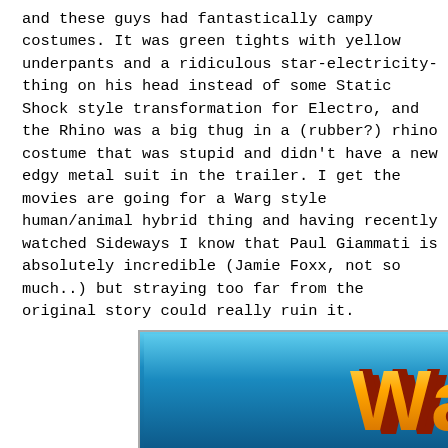and these guys had fantastically campy costumes. It was green tights with yellow underpants and a ridiculous star-electricity-thing on his head instead of some Static Shock style transformation for Electro, and the Rhino was a big thug in a (rubber?) rhino costume that was stupid and didn't have a new edgy metal suit in the trailer. I get the movies are going for a Warg style human/animal hybrid thing and having recently watched Sideways I know that Paul Giammati is absolutely incredible (Jamie Foxx, not so much..) but straying too far from the original story could really ruin it.
[Figure (logo): Warcraft logo in stylized orange/yellow font with blue background and rocky/icy border treatment]